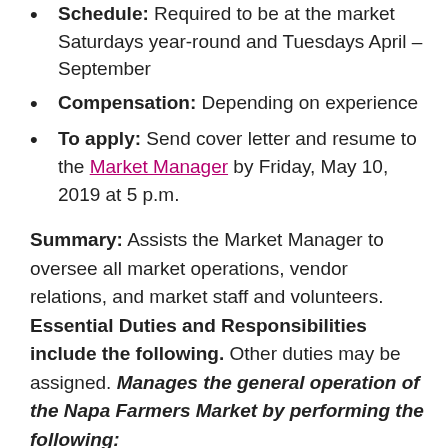Schedule: Required to be at the market Saturdays year-round and Tuesdays April – September
Compensation: Depending on experience
To apply: Send cover letter and resume to the Market Manager by Friday, May 10, 2019 at 5 p.m.
Summary: Assists the Market Manager to oversee all market operations, vendor relations, and market staff and volunteers. Essential Duties and Responsibilities include the following. Other duties may be assigned. Manages the general operation of the Napa Farmers Market by performing the following:
Maintains good working relationships with each farmer, vendor, and non-profit, consumers, community members, groups